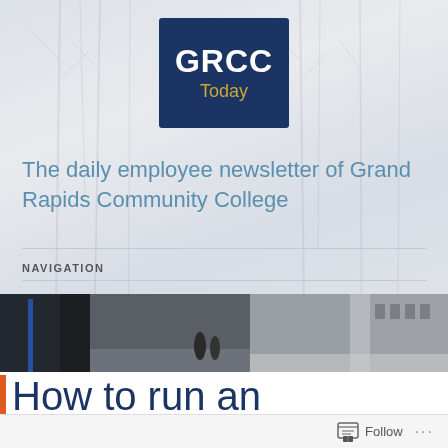[Figure (logo): GRCC Today logo — dark navy blue square with 'GRCC' in large white bold text and 'Today' in gold/yellow text below]
The daily employee newsletter of Grand Rapids Community College
NAVIGATION
[Figure (photo): Wide panoramic photo strip showing a winter campus scene with snow-covered pathways, bare trees, and pedestrians walking]
How to run an
Follow ...